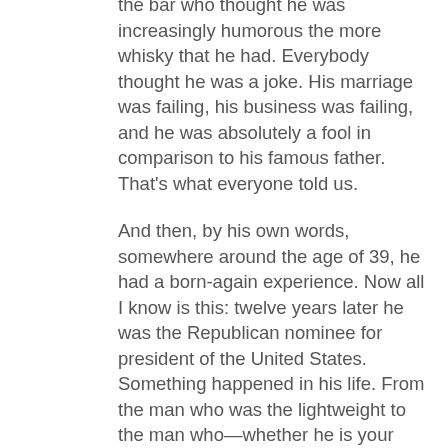the bar who thought he was increasingly humorous the more whisky that he had. Everybody thought he was a joke. His marriage was failing, his business was failing, and he was absolutely a fool in comparison to his famous father. That's what everyone told us.

And then, by his own words, somewhere around the age of 39, he had a born-again experience. Now all I know is this: twelve years later he was the Republican nominee for president of the United States. Something happened in his life. From the man who was the lightweight to the man who—whether he is your president or not is not the issue, I mean, in the sense that you endorse him—but a man who at least is living a life of significance in our generation. And I've got to tell you George Bush entered the presidency with the thinnest résumé in American history. I'll leave it to the ladies as to whether he's the best-looking president that we've ever had. He's probably not the most intelligent president that we've ever had, and I mean no insult